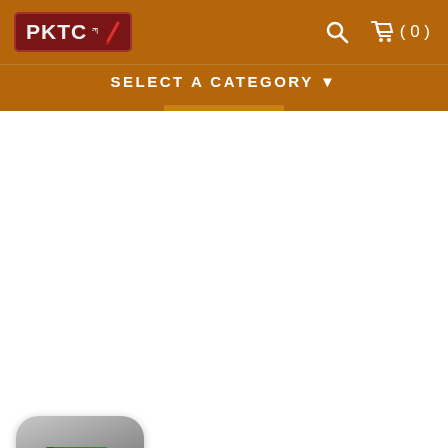[Figure (logo): PKTC logo with Tibetan script and red pen icon on dark red background]
SELECT A CATEGORY ▾
[Figure (illustration): Green book app icon with rounded corners on dark gradient background]
Decoding Golden Mirror Tibetan-Tibetan Dictionary WINDOWS
This is the Windows version of the dictio...